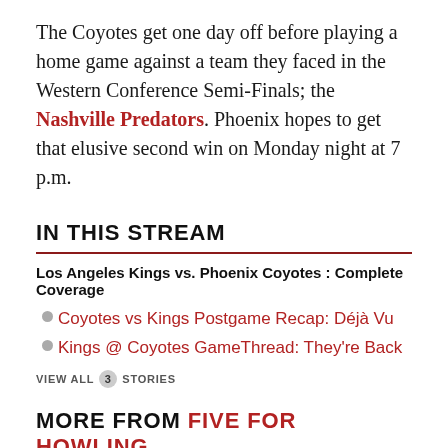The Coyotes get one day off before playing a home game against a team they faced in the Western Conference Semi-Finals; the Nashville Predators. Phoenix hopes to get that elusive second win on Monday night at 7 p.m.
IN THIS STREAM
Los Angeles Kings vs. Phoenix Coyotes : Complete Coverage
Coyotes vs Kings Postgame Recap: Déjà Vu
Kings @ Coyotes GameThread: They're Back
VIEW ALL 3 STORIES
MORE FROM FIVE FOR HOWLING